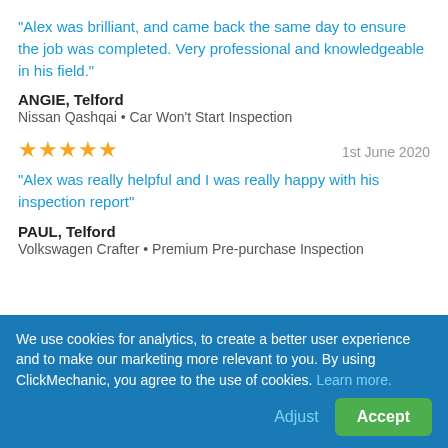“Alex was brilliant, and came back the same day to ensure the job was completed. Very professional and knowledgeable in his field.”
ANGIE, Telford
Nissan Qashqai • Car Won't Start Inspection
1st June 2020
“Alex was really helpful and I was really happy with his inspection report”
PAUL, Telford
Volkswagen Crafter • Premium Pre-purchase Inspection
We use cookies for analytics, to create a better user experience and to make our marketing more relevant to you. By using ClickMechanic, you agree to the use of cookies. Learn more.